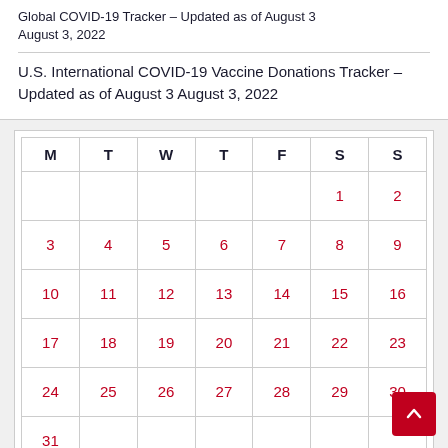Global COVID-19 Tracker – Updated as of August 3 August 3, 2022
U.S. International COVID-19 Vaccine Donations Tracker – Updated as of August 3 August 3, 2022
| M | T | W | T | F | S | S |
| --- | --- | --- | --- | --- | --- | --- |
|  |  |  |  |  | 1 | 2 |
| 3 | 4 | 5 | 6 | 7 | 8 | 9 |
| 10 | 11 | 12 | 13 | 14 | 15 | 16 |
| 17 | 18 | 19 | 20 | 21 | 22 | 23 |
| 24 | 25 | 26 | 27 | 28 | 29 | 30 |
| 31 |  |  |  |  |  |  |